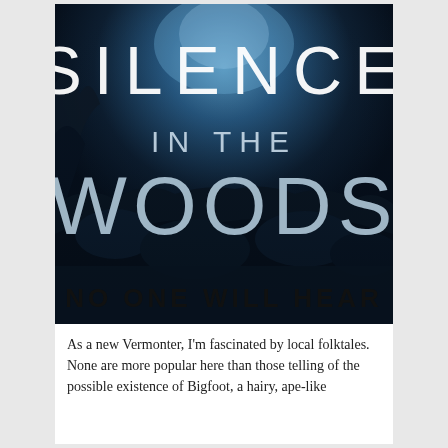[Figure (illustration): Book cover for 'Silence in the Woods' — dark atmospheric image of a rocky cave or forest scene with blue light, large white spaced lettering reading 'SILENCE IN THE WOODS' and subtitle 'NO ONE WILL HEAR' in bold dark text at the bottom.]
As a new Vermonter, I'm fascinated by local folktales. None are more popular here than those telling of the possible existence of Bigfoot, a hairy, ape-like